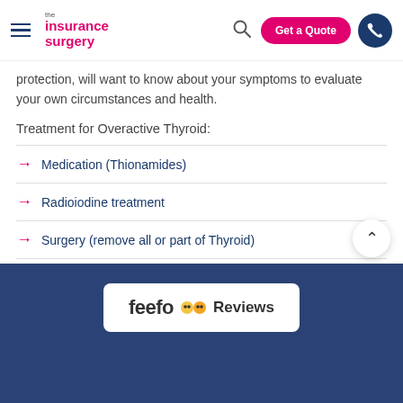the insurance surgery | Get a Quote
protection, will want to know about your symptoms to evaluate your own circumstances and health.
Treatment for Overactive Thyroid:
Medication (Thionamides)
Radioiodine treatment
Surgery (remove all or part of Thyroid)
feefo Reviews